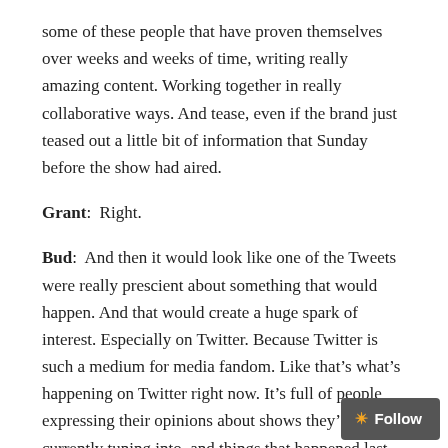some of these people that have proven themselves over weeks and weeks of time, writing really amazing content. Working together in really collaborative ways. And tease, even if the brand just teased out a little bit of information that Sunday before the show had aired.
Grant:  Right.
Bud:  And then it would look like one of the Tweets were really prescient about something that would happen. And that would create a huge spark of interest. Especially on Twitter. Because Twitter is such a medium for media fandom. Like that’s what’s happening on Twitter right now. It’s full of people expressing their opinions about shows they’re currently tuning into, and things that happened last night.
And it’s a perfect environment for that kind of thing to happen. And it’s just Tweets. It’s such a small investment of time and creative energy to be able to send a few characters’ waves, and just see what happens.